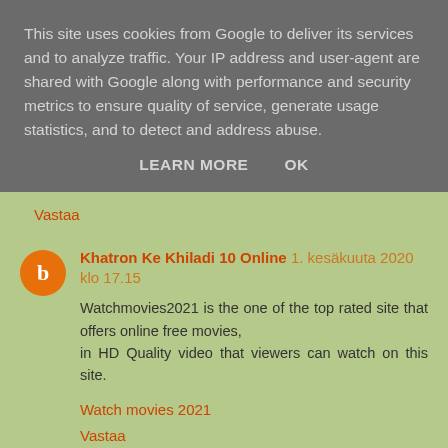This site uses cookies from Google to deliver its services and to analyze traffic. Your IP address and user-agent are shared with Google along with performance and security metrics to ensure quality of service, generate usage statistics, and to detect and address abuse.
LEARN MORE    OK
Vastaa
Khatron Ke Khiladi 10 Online  1. kesäkuuta 2020 klo 17.15
Watchmovies2021 is the one of the top rated site that offers online free movies,
in HD Quality video that viewers can watch on this site.
Watch movies 2021
Vastaa